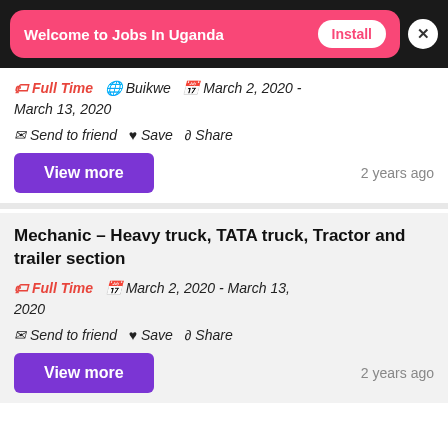[Figure (screenshot): App install banner: 'Welcome to Jobs In Uganda' with Install button on pink background, close X button on dark background]
Full Time  Buikwe  March 2, 2020 - March 13, 2020
Send to friend  Save  Share
View more   2 years ago
Mechanic – Heavy truck, TATA truck, Tractor and trailer section
Full Time  March 2, 2020 - March 13, 2020
Send to friend  Save  Share
View more   2 years ago